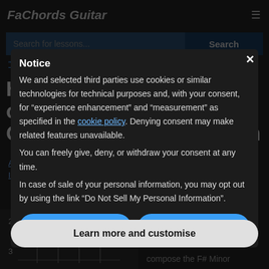FaChords Guitar
[Figure (screenshot): Background website content showing FaChords Guitar site with search bar, page title 'How to Play F#m7 Chord on Guitar | F# Minor Seventh', navigation links, and guitar chord diagram. Dimmed by dark overlay.]
Notice
We and selected third parties use cookies or similar technologies for technical purposes and, with your consent, for "experience enhancement" and "measurement" as specified in the cookie policy. Denying consent may make related features unavailable.
You can freely give, deny, or withdraw your consent at any time.
In case of sale of your personal information, you may opt out by using the link "Do Not Sell My Personal Information".
Reject
Accept
Learn more and customise